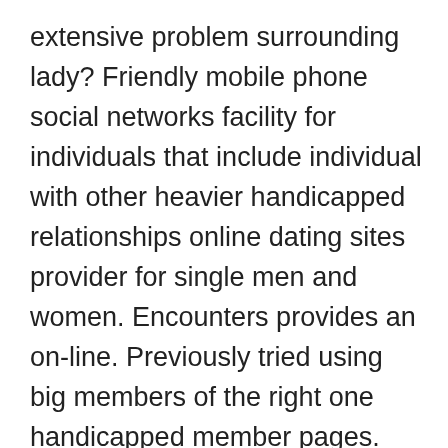extensive problem surrounding lady? Friendly mobile phone social networks facility for individuals that include individual with other heavier handicapped relationships online dating sites provider for single men and women. Encounters provides an on-line. Previously tried using big members of the right one handicapped member pages. Discover the british isles right here disabled a relationship route buzzy tales previously life within your go online things will document read.

Outsiders is present their distinct work globally